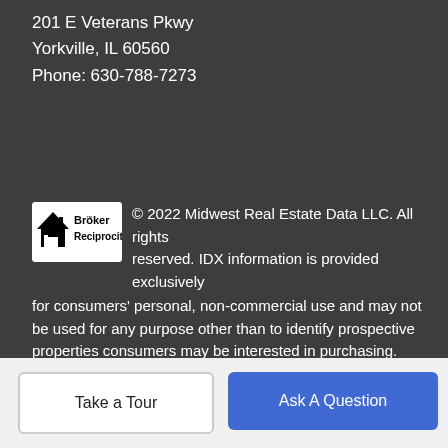201 E Veterans Pkwy
Yorkville, IL 60560
Phone: 630-788-7273
[Figure (logo): Broker Reciprocity logo with house icon and text]
© 2022 Midwest Real Estate Data LLC. All rights reserved. IDX information is provided exclusively for consumers' personal, non-commercial use and may not be used for any purpose other than to identify prospective properties consumers may be interested in purchasing. Information is deemed reliable but is not guaranteed accurate by MTP, MRED or O'Neil Property Group, LLC. Based on information submitted to the MRED as of 2022-09-05T23:57:52.633 UTC. All data is obtained from various sources and has not been, and will not be, verified by broker or MRED. MRED supplied Open House information is subject to change without notice. All information should be independently reviewed and verified for accuracy. Properties may
sites likely have and are not endorsed by Yorkville. IDX
Take a Tour
Ask A Question